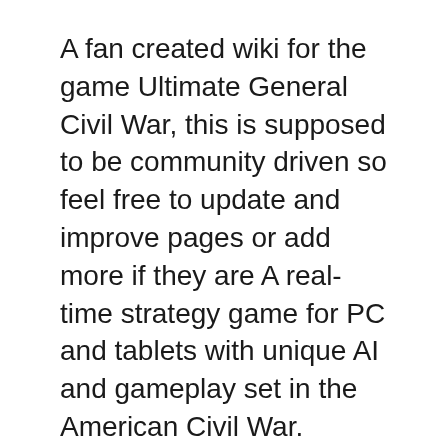A fan created wiki for the game Ultimate General Civil War, this is supposed to be community driven so feel free to update and improve pages or add more if they are A real-time strategy game for PC and tablets with unique AI and gameplay set in the American Civil War. Ultimate General: Gettysburg is a tactical battle simulator
Civil War 2 is the definitive grand This is must have game for anyone interested in the period or grand strategy games in general. Civil War II is an Civil War II – PC Game Preview In the 1990s, games such as Civil War Generals 2 and the Talonsoft battle series were the only